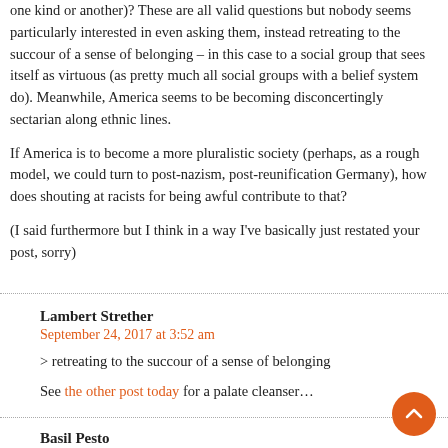one kind or another)? These are all valid questions but nobody seems particularly interested in even asking them, instead retreating to the succour of a sense of belonging – in this case to a social group that sees itself as virtuous (as pretty much all social groups with a belief system do). Meanwhile, America seems to be becoming disconcertingly sectarian along ethnic lines.
If America is to become a more pluralistic society (perhaps, as a rough model, we could turn to post-nazism, post-reunification Germany), how does shouting at racists for being awful contribute to that?
(I said furthermore but I think in a way I've basically just restated your post, sorry)
Lambert Strether
September 24, 2017 at 3:52 am
> retreating to the succour of a sense of belonging
See the other post today for a palate cleanser…
Basil Pesto
September 24, 2017 at 4:18 am